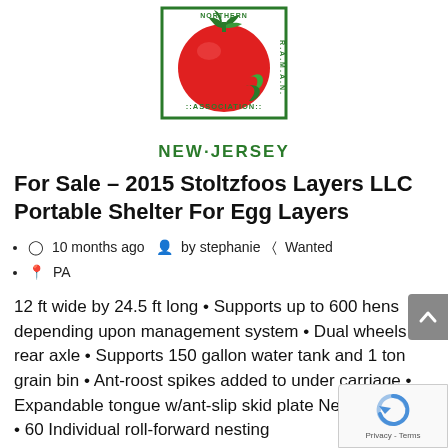[Figure (logo): Northern New Jersey Farmers Association logo — red tomato with green leaves inside a green bordered square, text 'NEW·JERSEY' below in green]
For Sale – 2015 Stoltzfoos Layers LLC Portable Shelter For Egg Layers
10 months ago  by stephanie  Wanted
PA
12 ft wide by 24.5 ft long • Supports up to 600 hens depending upon management system • Dual wheels on rear axle • Supports 150 gallon water tank and 1 ton grain bin • Ant-roost spikes added to under carriage • Expandable tongue w/ant-slip skid plate Nesting boxes • 60 Individual roll-forward nesting